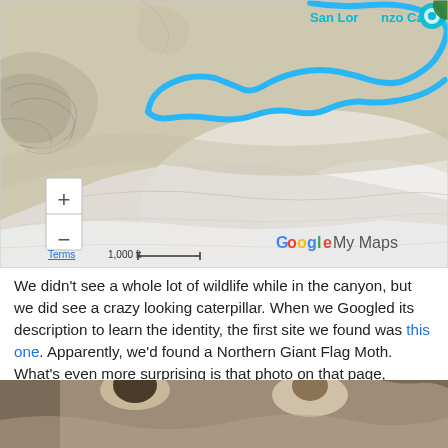[Figure (map): Google My Maps screenshot showing San Lorenzo Canyon topographic map with a blue route/trail highlighted. Includes zoom controls (+/-), scale bar showing 1,000 ft, Terms link, and Google My Maps branding.]
We didn't see a whole lot of wildlife while in the canyon, but we did see a crazy looking caterpillar. When we Googled its description to learn the identity, the first site we found was this one. Apparently, we'd found a Northern Giant Flag Moth. What's even more surprising is that photo on that page, documented 12 years ago, was also taken in San Lorenzo Canyon. How crazy is that?
[Figure (photo): Partial photo at bottom of page showing two people posing outdoors in rocky terrain, cropped at top edge.]